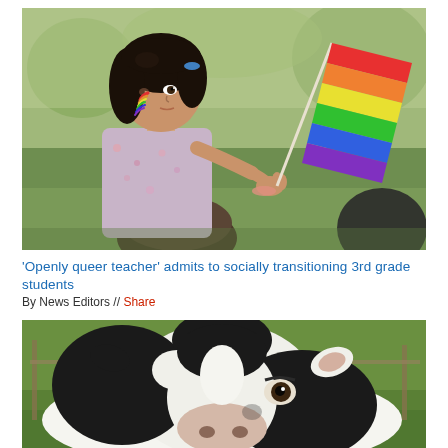[Figure (photo): A young girl with a rainbow face paint sitting on a man's shoulders, holding a rainbow pride flag outdoors]
'Openly queer teacher' admits to socially transitioning 3rd grade students
By News Editors // Share
[Figure (photo): Close-up of a black and white Holstein cow facing the camera outdoors]